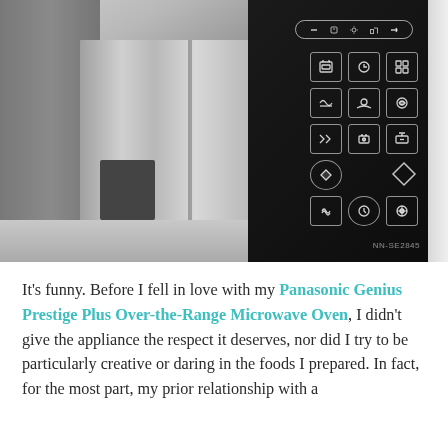[Figure (photo): Close-up photo of a Panasonic Genius Prestige Plus Over-the-Range Microwave Oven (model NN-SE2845) with a black touch-panel control face showing illuminated icons in a grid layout, with a stainless steel refrigerator visible in the background on the left side.]
It's funny. Before I fell in love with my Panasonic Genius Prestige Plus Over-the-Range Microwave Oven, I didn't give the appliance the respect it deserves, nor did I try to be particularly creative or daring in the foods I prepared. In fact, for the most part, my prior relationship with a microwave it basically has been basically all for reating